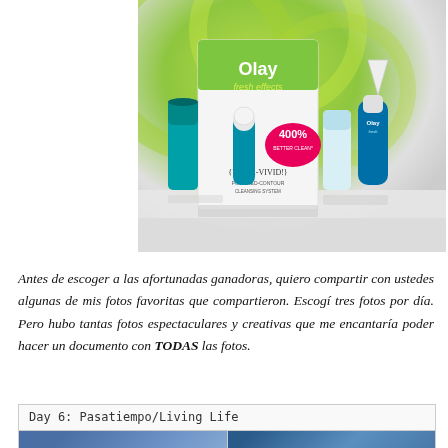[Figure (photo): Olay Fresh Effects skincare product line photo showing Va-Va-Vivid powered contour cleansing system with '400% Better Clean' label, tubes, and brush head, on a light grey background with green and lime graphic packaging]
Antes de escoger a las afortunadas ganadoras, quiero compartir con ustedes algunas de mis fotos favoritas que compartieron. Escogí tres fotos por día. Pero hubo tantas fotos espectaculares y creativas que me encantaría poder hacer un documento con TODAS las fotos.
[Figure (photo): Day 6: Pasatiempo/Living Life — two photo thumbnails shown side by side, both with blue tones showing people outdoors]